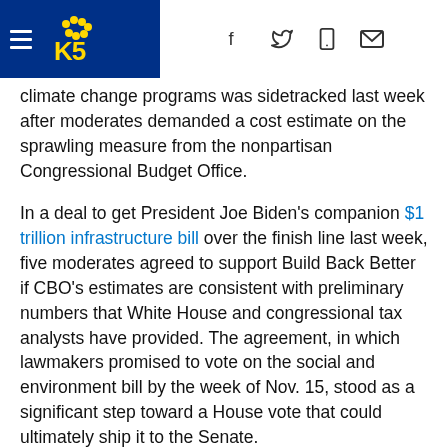KING5 news header with navigation icons
climate change programs was sidetracked last week after moderates demanded a cost estimate on the sprawling measure from the nonpartisan Congressional Budget Office.
In a deal to get President Joe Biden's companion $1 trillion infrastructure bill over the finish line last week, five moderates agreed to support Build Back Better if CBO's estimates are consistent with preliminary numbers that White House and congressional tax analysts have provided. The agreement, in which lawmakers promised to vote on the social and environment bill by the week of Nov. 15, stood as a significant step toward a House vote that could ultimately ship it to the Senate.
However, the CBO said Tuesday that while some estimates would be released this week, other estimates would take longer and a release date for those would be announced later.